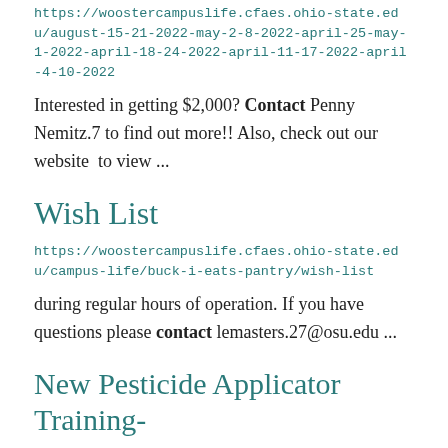https://woostercampuslife.cfaes.ohio-state.edu/august-15-21-2022-may-2-8-2022-april-25-may-1-2022-april-18-24-2022-april-11-17-2022-april-4-10-2022
Interested in getting $2,000? Contact Penny Nemitz.7 to find out more!! Also, check out our website to view ...
Wish List
https://woostercampuslife.cfaes.ohio-state.edu/campus-life/buck-i-eats-pantry/wish-list
during regular hours of operation. If you have questions please contact lemasters.27@osu.edu ...
New Pesticide Applicator Training-